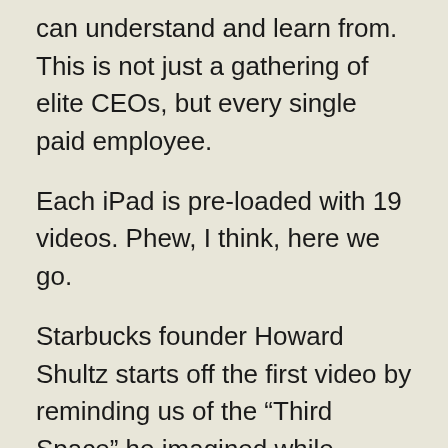can understand and learn from. This is not just a gathering of elite CEOs, but every single paid employee.
Each iPad is pre-loaded with 19 videos. Phew, I think, here we go.
Starbucks founder Howard Shultz starts off the first video by reminding us of the “Third Space” he imagined while touring Italy in the eighties. The third space is a place between home and work that can act as a second living room, a place to gather, or a dating spot. He emphasizes how different life is now because the world is more hostile. This is the first of many moments I